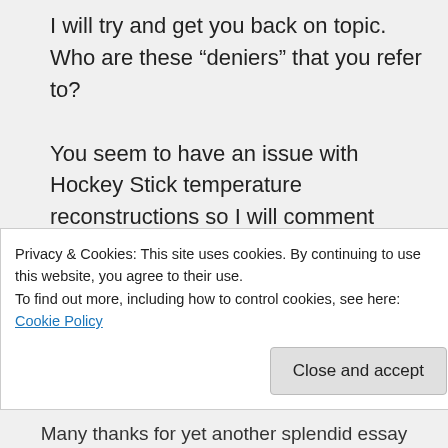I will try and get you back on topic. Who are these “deniers” that you refer to?

You seem to have an issue with Hockey Stick temperature reconstructions so I will comment about that. The reconstructions do show the MWP, Little Ice Age and natural causes of climate change. I can post a reference if you are unable to Google it.
★ Liked by 1 person
Privacy & Cookies: This site uses cookies. By continuing to use this website, you agree to their use.
To find out more, including how to control cookies, see here: Cookie Policy
Close and accept
Many thanks for yet another splendid essay